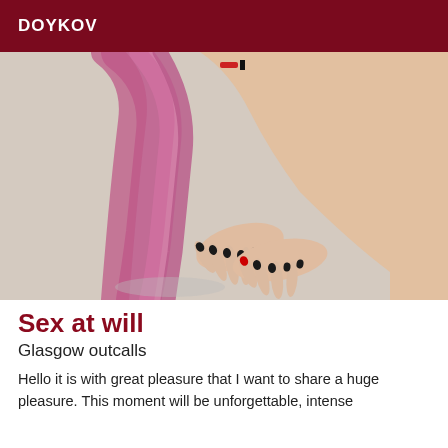DOYKOV
[Figure (photo): Person with long pink/magenta hair on floor, hands with black nail polish visible on grey floor surface]
Sex at will
Glasgow outcalls
Hello it is with great pleasure that I want to share a huge pleasure. This moment will be unforgettable, intense